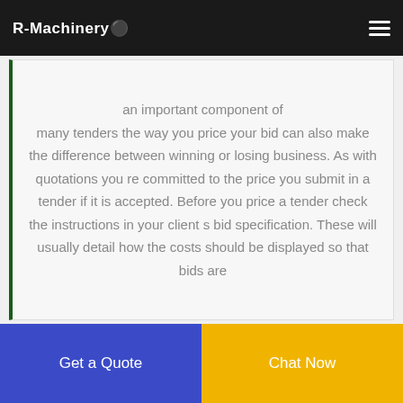R-Machinery
an important component of many tenders the way you price your bid can also make the difference between winning or losing business. As with quotations you re committed to the price you submit in a tender if it is accepted. Before you price a tender check the instructions in your client s bid specification. These will usually detail how the costs should be displayed so that bids are
[Figure (photo): Interior of a warehouse or industrial building with ceiling lights visible]
Anime shoes Etsy
Get a Quote
Chat Now